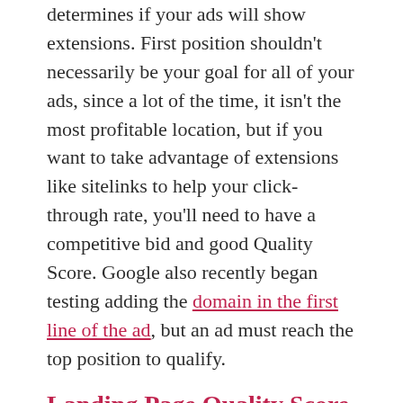determines if your ads will show extensions. First position shouldn't necessarily be your goal for all of your ads, since a lot of the time, it isn't the most profitable location, but if you want to take advantage of extensions like sitelinks to help your click-through rate, you'll need to have a competitive bid and good Quality Score. Google also recently began testing adding the domain in the first line of the ad, but an ad must reach the top position to qualify.
Landing Page Quality Score
Google always proclaims their big three landing page quality factors: relevant and original content, transparency, and navigability.  Google wants to